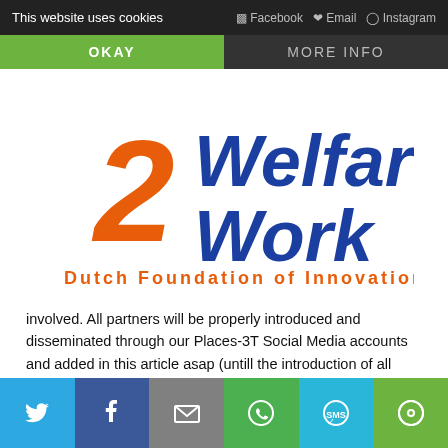This website uses cookies
[Figure (logo): 2Welfare Work Dutch Foundation of Innovation logo with orange '2' and blue text]
involved. All partners will be properly introduced and disseminated through our Places-3T Social Media accounts and added in this article asap (untill the introduction of all partners is complete. In the framework of an Erasmus+ strategic partnership, this project brings together 7 structures with specific and complementary fields of expertise spread over 5 regions in 5 European countries:
[Figure (infographic): Social share bar with Twitter, Facebook, Email, WhatsApp, SMS, and Share icons on colored backgrounds]